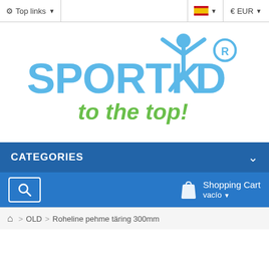Top links   🇪🇸  € EUR
[Figure (logo): Sportkid logo with blue stylized text SPORTKID, a stick figure with raised arms, registered trademark symbol, and green tagline 'to the top!']
CATEGORIES
Shopping Cart vacío
🏠 > OLD > Roheline pehme täring 300mm